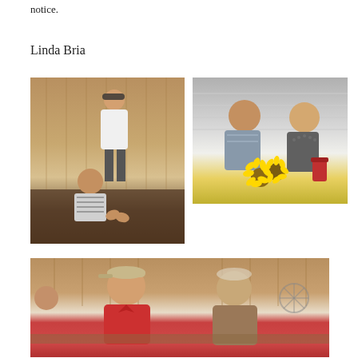notice.
Linda Bria
[Figure (photo): Man in baseball cap and white t-shirt standing in a barn/wooden building, with a woman in a striped shirt clapping in the foreground]
[Figure (photo): Two women smiling and seated at a table with sunflowers as centerpiece]
[Figure (photo): Two older men seated at a table in a rustic building, one wearing a red polo shirt and cap, the other in a muted shirt]